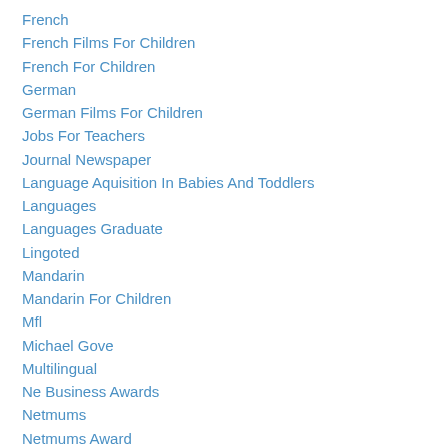French
French Films For Children
French For Children
German
German Films For Children
Jobs For Teachers
Journal Newspaper
Language Aquisition In Babies And Toddlers
Languages
Languages Graduate
Lingoted
Mandarin
Mandarin For Children
Mfl
Michael Gove
Multilingual
Ne Business Awards
Netmums
Netmums Award
#northeastbusinessawards